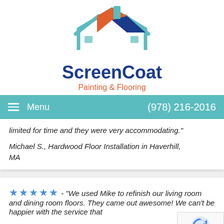[Figure (logo): ScreenCoat Painting & Flooring logo with house/roof icon in teal, orange, and dark blue]
≡ Menu   (978) 216-2016
limited for time and they were very accommodating."
Michael S., Hardwood Floor Installation in Haverhill, MA
★★★★★ - "We used Mike to refinish our living room and dining room floors. They came out awesome! We can't be happier with the service that